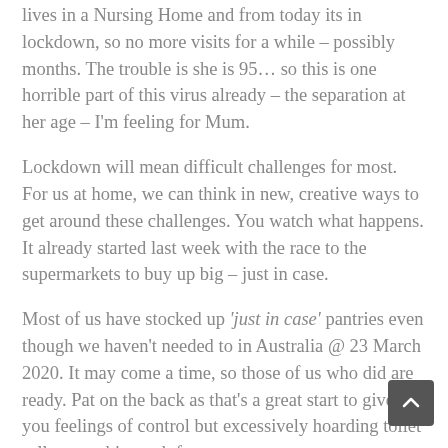lives in a Nursing Home and from today its in lockdown, so no more visits for a while – possibly months. The trouble is she is 95... so this is one horrible part of this virus already – the separation at her age – I'm feeling for Mum.
Lockdown will mean difficult challenges for most. For us at home, we can think in new, creative ways to get around these challenges. You watch what happens. It already started last week with the race to the supermarkets to buy up big – just in case.
Most of us have stocked up 'just in case' pantries even though we haven't needed to in Australia @ 23 March 2020. It may come a time, so those of us who did are ready. Pat on the back as that's a great start to give you feelings of control but excessively hoarding toilet rolls was a bit much for some.
Whatever can reduce your stress at this point. There is a bonus in doing the shopping for your 'just in case' pantry now, and it won't be a waste of time as you've done this shopping so you won't have to shop for food and essentials for a while.